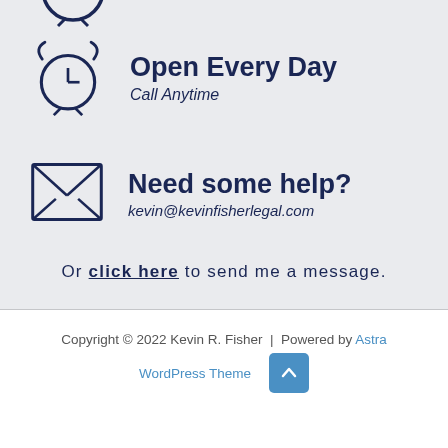[Figure (illustration): Alarm clock icon, partially clipped at top of page, dark navy outline style]
Open Every Day
Call Anytime
[Figure (illustration): Envelope/email icon, dark navy outline style with X marks]
Need some help?
kevin@kevinfisherlegal.com
Or click here to send me a message.
Copyright © 2022 Kevin R. Fisher | Powered by Astra WordPress Theme